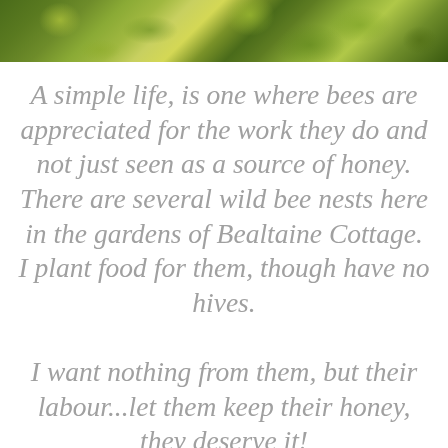[Figure (photo): Close-up photograph of green leafy plants/hops with blurred bokeh background in yellowy-green tones]
A simple life, is one where bees are appreciated for the work they do and not just seen as a source of honey. There are several wild bee nests here in the gardens of Bealtaine Cottage. I plant food for them, though have no hives. I want nothing from them, but their labour...let them keep their honey, they deserve it!